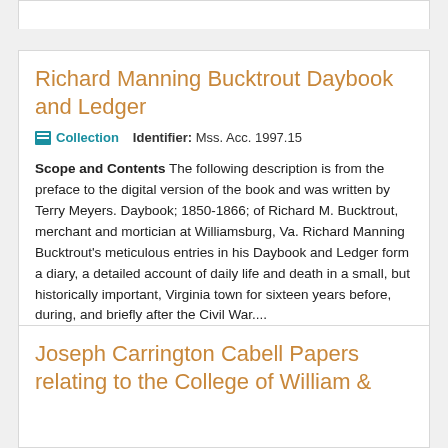Richard Manning Bucktrout Daybook and Ledger
Collection   Identifier: Mss. Acc. 1997.15
Scope and Contents The following description is from the preface to the digital version of the book and was written by Terry Meyers. Daybook; 1850-1866; of Richard M. Bucktrout, merchant and mortician at Williamsburg, Va. Richard Manning Bucktrout's meticulous entries in his Daybook and Ledger form a diary, a detailed account of daily life and death in a small, but historically important, Virginia town for sixteen years before, during, and briefly after the Civil War....
Joseph Carrington Cabell Papers relating to the College of William &